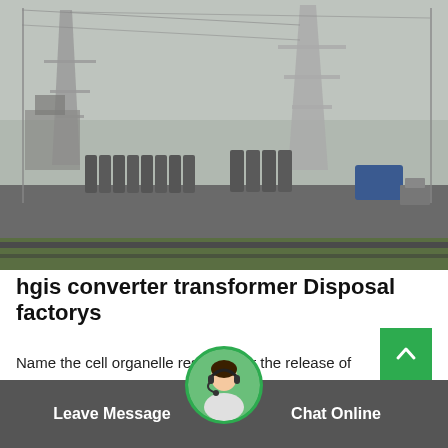[Figure (photo): Outdoor electrical substation or transformer yard on a rainy/overcast day. Multiple large cylindrical industrial containers/tanks in rows on a wet concrete pad, with high-voltage transmission towers and power lines in the background, and a green grass strip in the foreground.]
hgis converter transformer Disposal factorys
Name the cell organelle responsible for the release of
energyold.coloconsultant.com...Mitochondrion - an organelle that uses oxygen to break
[Figure (photo): Circular chat agent avatar with green border: a customer service representative wearing a headset microphone]
Leave Message
Chat Online